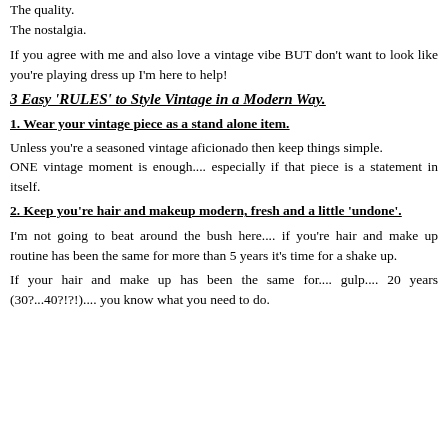The quality.
The nostalgia.
If you agree with me and also love a vintage vibe BUT don't want to look like you're playing dress up I'm here to help!
3 Easy 'RULES' to Style Vintage in a Modern Way.
1. Wear your vintage piece as a stand alone item.
Unless you're a seasoned vintage aficionado then keep things simple.
ONE vintage moment is enough.... especially if that piece is a statement in itself.
2. Keep you're hair and makeup modern, fresh and a little 'undone'.
I'm not going to beat around the bush here.... if you're hair and make up routine has been the same for more than 5 years it's time for a shake up.
If your hair and make up has been the same for.... gulp.... 20 years (30?...40?!?!).... you know what you need to do.